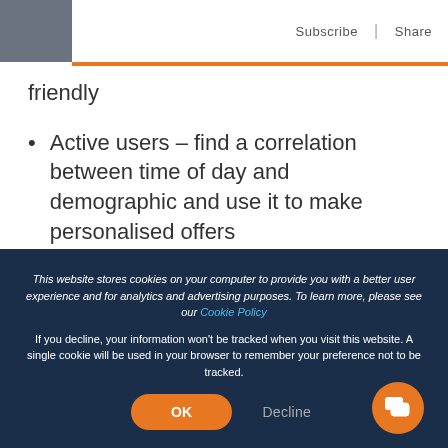Subscribe | Share
friendly
Active users – find a correlation between time of day and demographic and use it to make personalised offers
Search terms – ensure product information is correct for maximising SEO
This website stores cookies on your computer to provide you with a better user experience and for analytics and advertising purposes. To learn more, please see our Cookie Policy
If you decline, your information won't be tracked when you visit this website. A single cookie will be used in your browser to remember your preference not to be tracked.